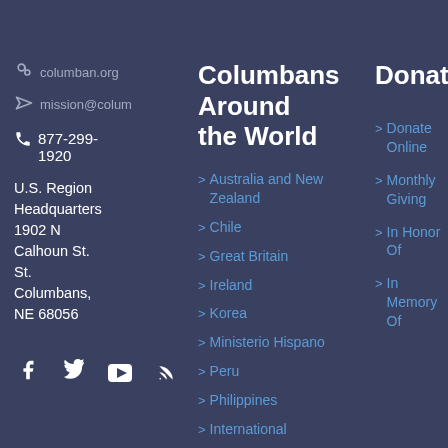columban.org
mission@colum
877-299-1920
U.S. Region Headquarters
1902 N Calhoun St.
St. Columbans, NE 68056
[Figure (infographic): Social media icons: Facebook, Twitter, YouTube, RSS feed]
Columbans Around the World
> Australia and New Zealand
> Chile
> Great Britain
> Ireland
> Korea
> Ministerio Hispano
> Peru
> Philippines
> International
> Columban Sisters
Donate
> Donate Online
> Monthly Giving
> In Honor Of
> In Memory Of